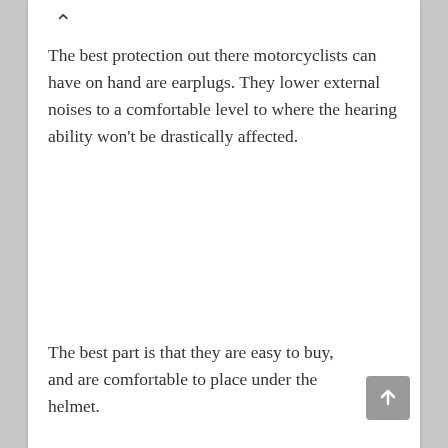The best protection out there motorcyclists can have on hand are earplugs. They lower external noises to a comfortable level to where the hearing ability won't be drastically affected.
The best part is that they are easy to buy, and are comfortable to place under the helmet.